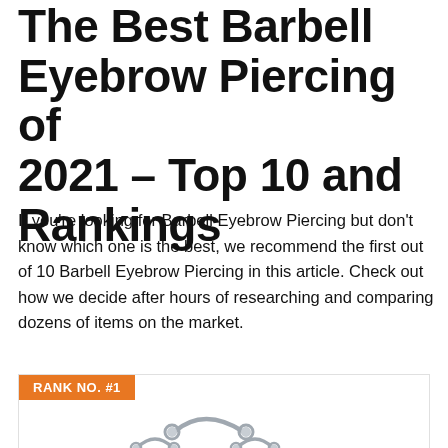The Best Barbell Eyebrow Piercing of 2021 – Top 10 and Rankings
If you're looking for Barbell Eyebrow Piercing but don't know which one is the best, we recommend the first out of 10 Barbell Eyebrow Piercing in this article. Check out how we decide after hours of researching and comparing dozens of items on the market.
RANK NO. #1
[Figure (photo): Photo of curved barbell eyebrow piercing jewelry — one large curved barbell at top and two smaller curved barbells below it, all silver/steel colored with ball ends.]